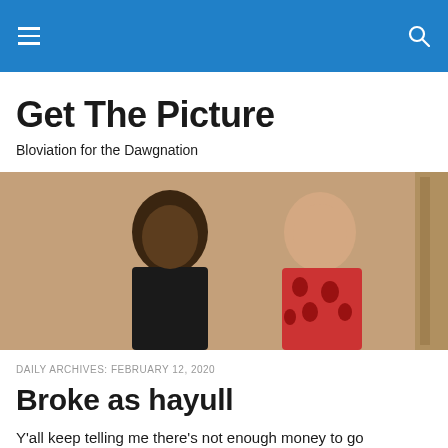Get The Picture
Bloviation for the Dawgnation
[Figure (photo): Two men in 1970s style clothing. One man in a black leather jacket and the other in a red patterned shirt, sitting together.]
DAILY ARCHIVES: FEBRUARY 12, 2020
Broke as hayull
Y'all keep telling me there's not enough money to go